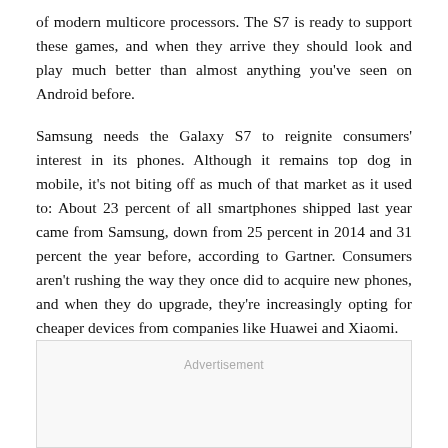of modern multicore processors. The S7 is ready to support these games, and when they arrive they should look and play much better than almost anything you've seen on Android before.
Samsung needs the Galaxy S7 to reignite consumers' interest in its phones. Although it remains top dog in mobile, it's not biting off as much of that market as it used to: About 23 percent of all smartphones shipped last year came from Samsung, down from 25 percent in 2014 and 31 percent the year before, according to Gartner. Consumers aren't rushing the way they once did to acquire new phones, and when they do upgrade, they're increasingly opting for cheaper devices from companies like Huawei and Xiaomi.
Advertisement